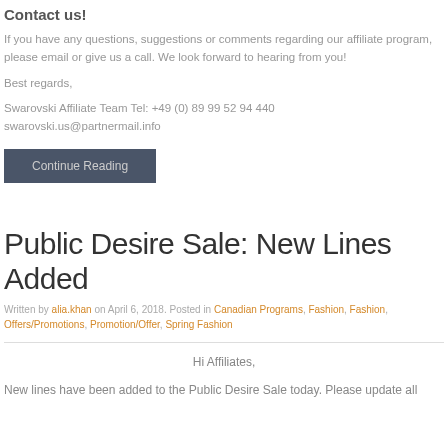Contact us!
If you have any questions, suggestions or comments regarding our affiliate program, please email or give us a call. We look forward to hearing from you!
Best regards,
Swarovski Affiliate Team Tel: +49 (0) 89 99 52 94 440
swarovski.us@partnermail.info
Continue Reading
Public Desire Sale: New Lines Added
Written by alia.khan on April 6, 2018. Posted in Canadian Programs, Fashion, Fashion, Offers/Promotions, Promotion/Offer, Spring Fashion
Hi Affiliates,
New lines have been added to the Public Desire Sale today. Please update all